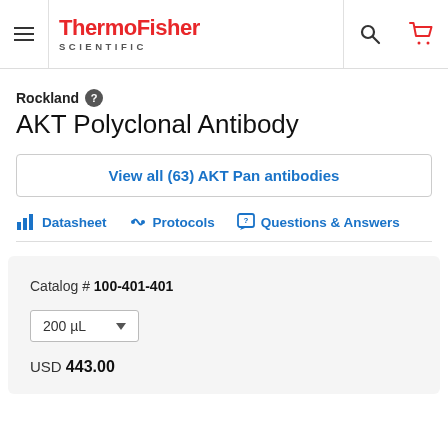ThermoFisher SCIENTIFIC
Rockland
AKT Polyclonal Antibody
View all (63) AKT Pan antibodies
Datasheet   Protocols   Questions & Answers
Catalog # 100-401-401
200 µL
USD 443.00